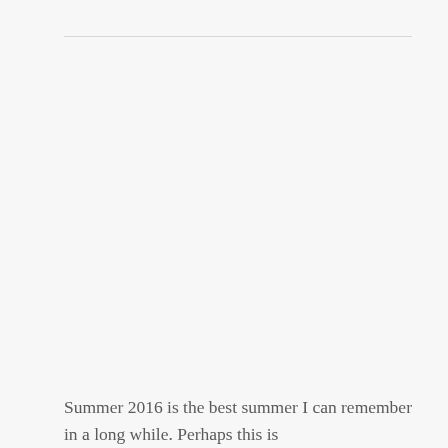Summer 2016 is the best summer I can remember in a long while. Perhaps this is